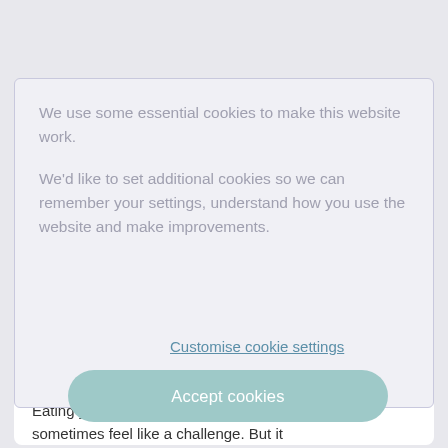We use some essential cookies to make this website work.
We'd like to set additional cookies so we can remember your settings, understand how you use the website and make improvements.
Customise cookie settings
Accept cookies
09 August 2022
7 easy meals to give you a veg boost this summer
Eating your five portions of fruit and veg a day can sometimes feel like a challenge. But it